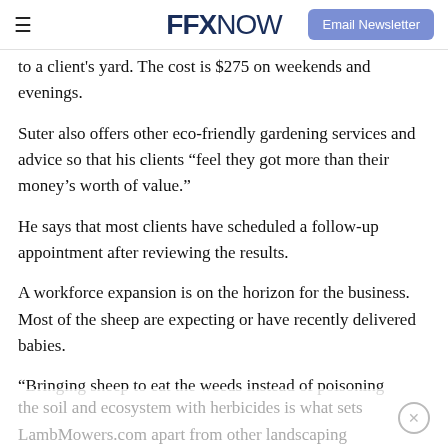FFX NOW | Email Newsletter
to a client's yard. The cost is $275 on weekends and evenings.
Suter also offers other eco-friendly gardening services and advice so that his clients “feel they got more than their money’s worth of value.”
He says that most clients have scheduled a follow-up appointment after reviewing the results.
A workforce expansion is on the horizon for the business. Most of the sheep are expecting or have recently delivered babies.
“Bringing sheep to eat the weeds instead of poisoning the soil and ecosystem with herbicides is what sets LambMowers.com apart from other landscaping